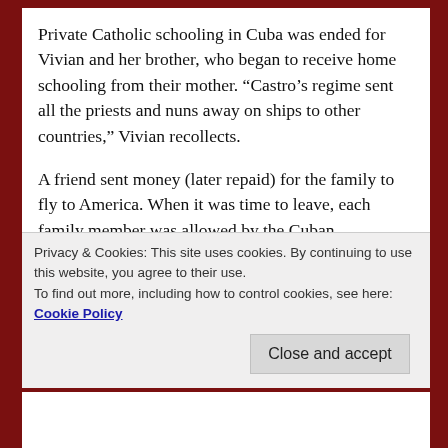Private Catholic schooling in Cuba was ended for Vivian and her brother, who began to receive home schooling from their mother. “Castro’s regime sent all the priests and nuns away on ships to other countries,” Vivian recollects.
A friend sent money (later repaid) for the family to fly to America. When it was time to leave, each family member was allowed by the Cuban government to take 30 pounds of clothing, but no jewelry.
After they arrived in the United States, Vivian’s father
Privacy & Cookies: This site uses cookies. By continuing to use this website, you agree to their use.
To find out more, including how to control cookies, see here: Cookie Policy
Close and accept